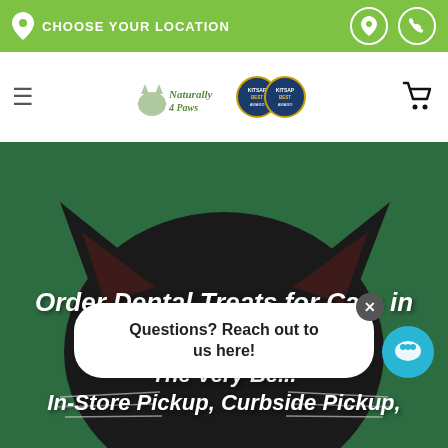CHOOSE YOUR LOCATION
[Figure (logo): Naturally 4 Paws logo with Kitsap Best awards badges]
[Figure (photo): Close-up of a black cat's ears and top of head against a green background]
Order Dental Treats for Cats in
The Very Be... In-Store Pickup, Curbside Pickup,
Questions? Reach out to us here!